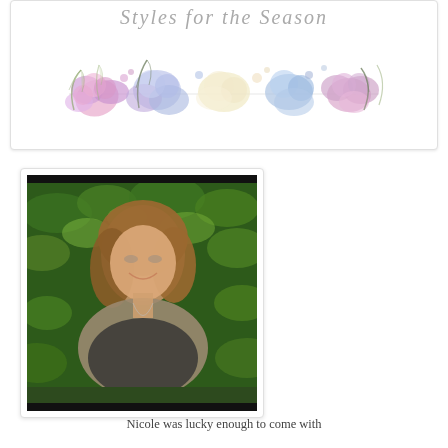[Figure (illustration): Decorative floral watercolor illustration with pink, purple, lavender, and blue flowers arranged in a horizontal band. A partial cursive/script text appears at the top.]
[Figure (photo): Portrait photo of a smiling woman with medium-length auburn/blonde wavy hair, wearing a gray cardigan over a dark top with a long necklace, posed in front of green leafy foliage background.]
Nicole was lucky enough to come with